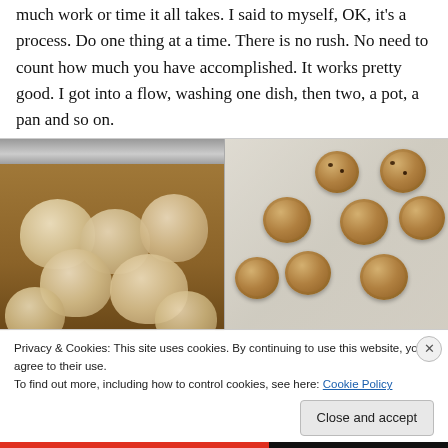much work or time it all takes. I said to myself, OK, it's a process. Do one thing at a time. There is no rush. No need to count how much you have accomplished. It works pretty good. I got into a flow, washing one dish, then two, a pot, a pan and so on.
[Figure (photo): Left: steamed dumplings/buns in a metal steamer pot. Right: chocolate chip cookies on parchment paper baking sheet.]
Privacy & Cookies: This site uses cookies. By continuing to use this website, you agree to their use.
To find out more, including how to control cookies, see here: Cookie Policy